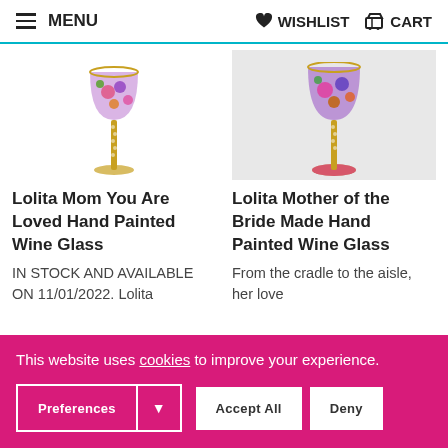MENU | WISHLIST | CART
[Figure (illustration): Partial top view of a decorated wine glass with colorful floral hand-painted design, left product]
Lolita Mom You Are Loved Hand Painted Wine Glass
IN STOCK AND AVAILABLE ON 11/01/2022. Lolita
[Figure (illustration): Partial top view of a decorated wine glass with colorful hand-painted design on grey/white background, right product]
Lolita Mother of the Bride Made Hand Painted Wine Glass
From the cradle to the aisle, her love
This website uses cookies to improve your experience.
Preferences | Accept All | Deny